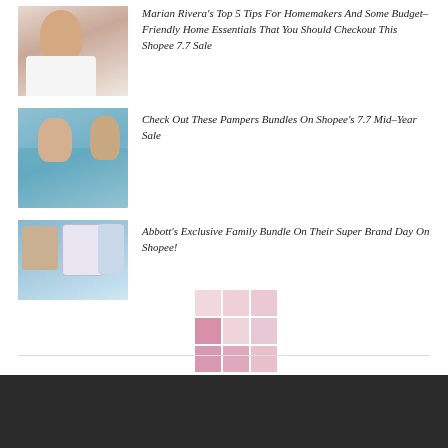[Figure (photo): Photo of a woman in white dress (Marian Rivera)]
Marian Rivera's Top 5 Tips For Homemakers And Some Budget-Friendly Home Essentials That You Should Checkout This Shopee 7.7 Sale
[Figure (photo): Photo of a baby/toddler with Pampers diapers]
Check Out These Pampers Bundles On Shopee's 7.7 Mid-Year Sale
[Figure (photo): Photo of family with Abbott nutrition products]
Abbott's Exclusive Family Bundle On Their Super Brand Day On Shopee!
[Figure (illustration): Color grid/palette of pink shades arranged in 3x3 grid]